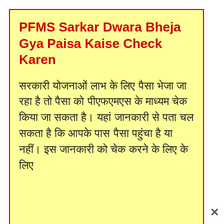PFMS Sarkar Dwara Bheja Gya Paisa Kaise Check Karen
सरकारी योजनाओं लाभ के लिए पैसा भेजा जा रहा है तो पैसा को पीएफएमएस के माध्यम चेक किया जा सकता है। यहां जानकारी से पता चल सकता है कि आपके पास पैसा पहुंचा है या नहीं। इस जानकारी को चेक करने के लिए के लिए